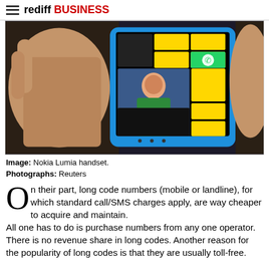rediff BUSINESS
[Figure (photo): A hand holding a Nokia Lumia smartphone with a blue casing, displaying the Windows Phone tile interface with yellow and dark tiles, including a WhatsApp icon and a photo of a person.]
Image: Nokia Lumia handset.
Photographs: Reuters
On their part, long code numbers (mobile or landline), for which standard call/SMS charges apply, are way cheaper to acquire and maintain. All one has to do is purchase numbers from any one operator. There is no revenue share in long codes. Another reason for the popularity of long codes is that they are usually toll-free.